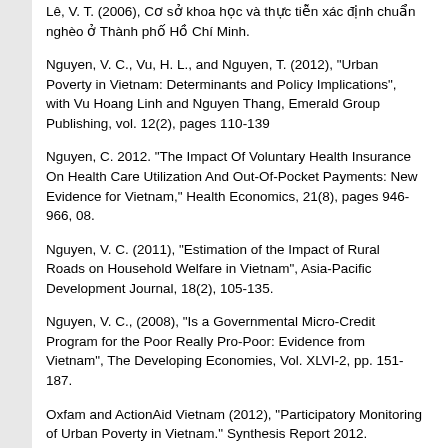Lê, V. T. (2006), Cơ sở khoa học và thực tiễn xác định chuẩn nghèo ở Thành phố Hồ Chí Minh.
Nguyen, V. C., Vu, H. L., and Nguyen, T. (2012), "Urban Poverty in Vietnam: Determinants and Policy Implications", with Vu Hoang Linh and Nguyen Thang, Emerald Group Publishing, vol. 12(2), pages 110-139
Nguyen, C. 2012. "The Impact Of Voluntary Health Insurance On Health Care Utilization And Out-Of-Pocket Payments: New Evidence for Vietnam," Health Economics, 21(8), pages 946-966, 08.
Nguyen, V. C. (2011), "Estimation of the Impact of Rural Roads on Household Welfare in Vietnam", Asia-Pacific Development Journal, 18(2), 105-135.
Nguyen, V. C., (2008), "Is a Governmental Micro-Credit Program for the Poor Really Pro-Poor: Evidence from Vietnam", The Developing Economies, Vol. XLVI-2, pp. 151-187.
Oxfam and ActionAid Vietnam (2012), "Participatory Monitoring of Urban Poverty in Vietnam." Synthesis Report 2012.
Phung, T., Westbrook, M., Nguyen, C. (2013), "Do the Poorest